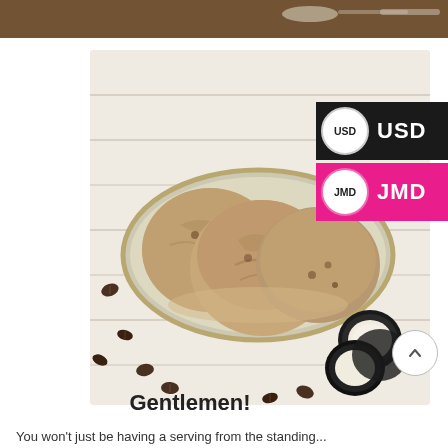[Figure (photo): Partial top strip of a photo showing a dark wooden surface with a spoon]
[Figure (photo): Three scoops of coffee/mocha ice cream on a ceramic oval plate, with Oreo cookies and coffee beans scattered around on a white wooden surface. Currency selector badges (USD and JMD) overlay the top-right corner.]
Gentlemen!
You won't just be having a serving from the standing...